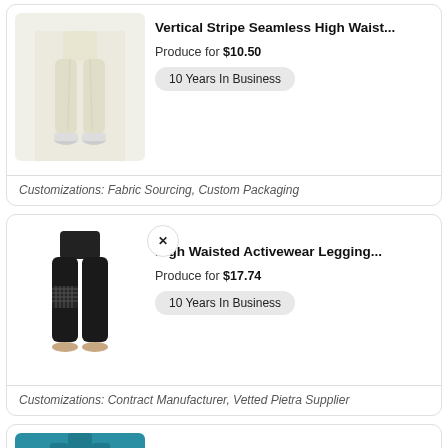[Figure (photo): Light cream/ivory leggings on a model from waist down with white sneakers against a light grey background]
Vertical Stripe Seamless High Waist...
Produce for $10.50
10 Years In Business
Customizations: Fabric Sourcing, Custom Packaging
[Figure (photo): Black mesh panel high waisted activewear leggings on a model from waist down, barefoot, against white background]
High Waisted Activewear Legging...
Produce for $17.74
10 Years In Business
Customizations: Contract Manufacturer, Vetted Pietra Supplier
[Figure (photo): Teal/blue activewear set partially visible at bottom of page]